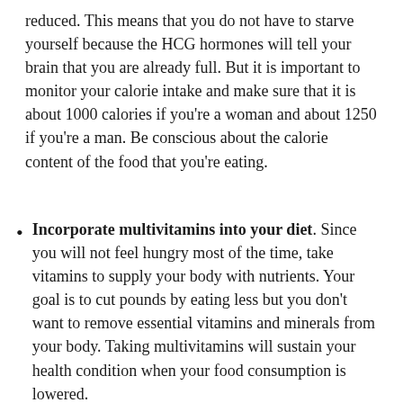reduced. This means that you do not have to starve yourself because the HCG hormones will tell your brain that you are already full. But it is important to monitor your calorie intake and make sure that it is about 1000 calories if you're a woman and about 1250 if you're a man. Be conscious about the calorie content of the food that you're eating.
Incorporate multivitamins into your diet. Since you will not feel hungry most of the time, take vitamins to supply your body with nutrients. Your goal is to cut pounds by eating less but you don't want to remove essential vitamins and minerals from your body. Taking multivitamins will sustain your health condition when your food consumption is lowered.